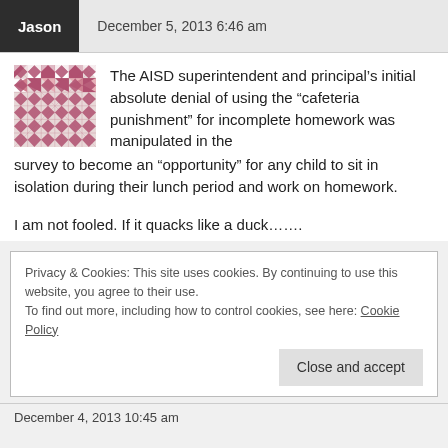Jason  December 5, 2013 6:46 am
The AISD superintendent and principal's initial absolute denial of using the “cafeteria punishment” for incomplete homework was manipulated in the survey to become an “opportunity” for any child to sit in isolation during their lunch period and work on homework.
I am not fooled. If it quacks like a duck…….
Privacy & Cookies: This site uses cookies. By continuing to use this website, you agree to their use.
To find out more, including how to control cookies, see here: Cookie Policy
December 4, 2013 10:45 am